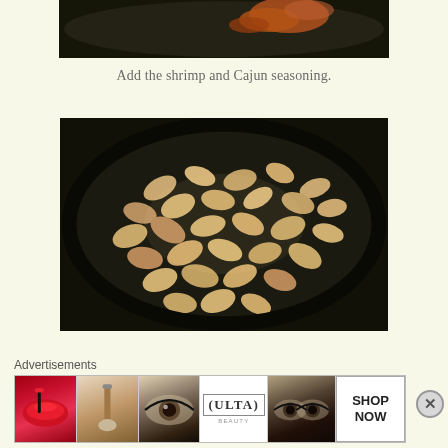[Figure (photo): Top portion of a frying pan with spices/seasoning visible, partially cropped at top of page]
Add the shrimp and Cajun seasoning.
[Figure (photo): A black frying pan filled with many small shrimp being cooked, golden-brown color, viewed from above]
Advertisements
[Figure (photo): Advertisement banner showing beauty/makeup images and ULTA logo with SHOP NOW text]